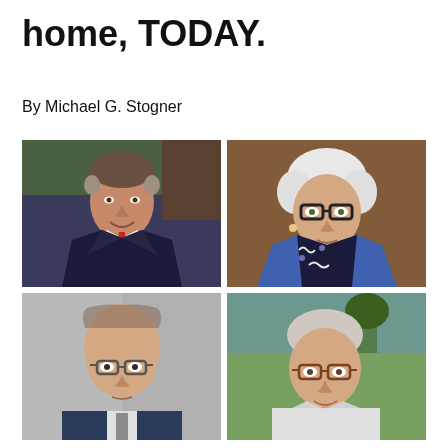home, TODAY.
By Michael G. Stogner
[Figure (photo): Grid of four portrait photos: top-left is a middle-aged man in a dark suit and red tie smiling; top-right is an elderly woman with white hair and glasses wearing a blue jacket; bottom-left is a bald man with glasses in a formal setting; bottom-right is an older man with glasses outdoors.]